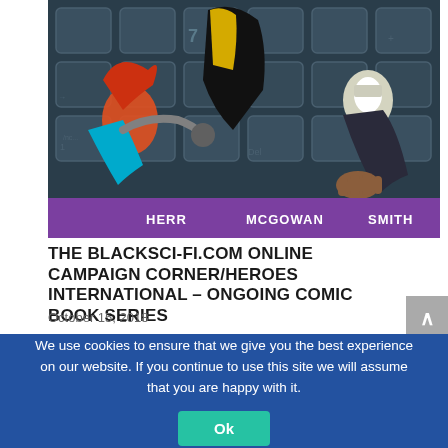[Figure (illustration): Comic book cover art showing superhero characters on giant keyboard keys. Characters include a woman with red hair in a blue suit, a figure in black and gold costume, and a masked villain in a suit. Bottom banner shows creators: HERR, MCGOWAN, SMITH on a purple background.]
THE BLACKSCI-FI.COM ONLINE CAMPAIGN CORNER/HEROES INTERNATIONAL – ONGOING COMIC BOOK SERIES
October 15, 2018
We use cookies to ensure that we give you the best experience on our website. If you continue to use this site we will assume that you are happy with it.